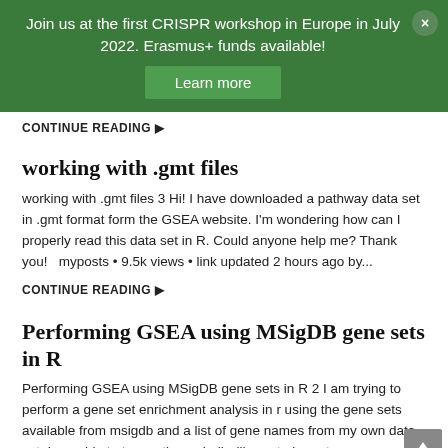Join us at the first CRISPR workshop in Europe in July 2022. Erasmus+ funds available!
Learn more
CONTINUE READING ▶
working with .gmt files
working with .gmt files 3 Hi! I have downloaded a pathway data set in .gmt format form the GSEA website. I'm wondering how can I properly read this data set in R. Could anyone help me? Thank you!   myposts • 9.5k views • link updated 2 hours ago by...
CONTINUE READING ▶
Performing GSEA using MSigDB gene sets in R
Performing GSEA using MSigDB gene sets in R 2 I am trying to perform a gene set enrichment analysis in r using the gene sets available from msigdb and a list of gene names from my own data set. I am able to to use the msigdbr library to import...